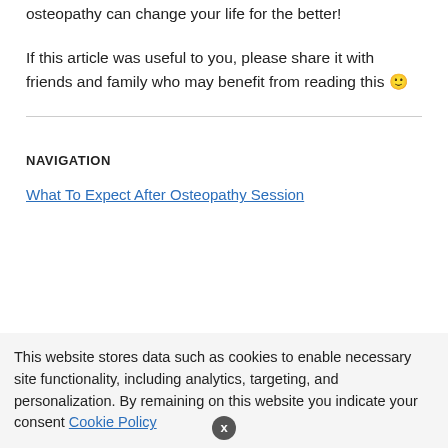with any osteopathy, so just tell them how you feel. This way osteopathy can change your life for the better!
If this article was useful to you, please share it with friends and family who may benefit from reading this 🙂
NAVIGATION
What To Expect After Osteopathy Session
This website stores data such as cookies to enable necessary site functionality, including analytics, targeting, and personalization. By remaining on this website you indicate your consent Cookie Policy